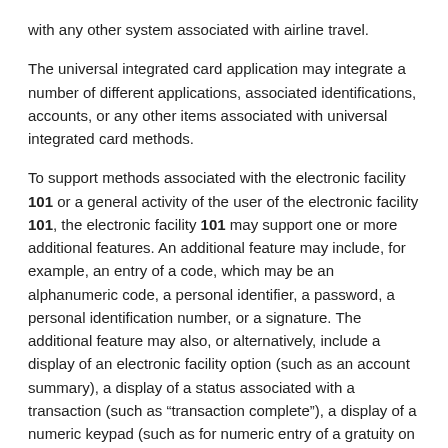with any other system associated with airline travel.
The universal integrated card application may integrate a number of different applications, associated identifications, accounts, or any other items associated with universal integrated card methods.
To support methods associated with the electronic facility 101 or a general activity of the user of the electronic facility 101, the electronic facility 101 may support one or more additional features. An additional feature may include, for example, an entry of a code, which may be an alphanumeric code, a personal identifier, a password, a personal identification number, or a signature. The additional feature may also, or alternatively, include a display of an electronic facility option (such as an account summary), a display of a status associated with a transaction (such as “transaction complete”), a display of a numeric keypad (such as for numeric entry of a gratuity on a restaurant purchase), a notepad, a to-do list, a contact list, an email program, a task manager, a message manager, an instant messaging program, an alarm, a reminder feature, or any other feature that might be